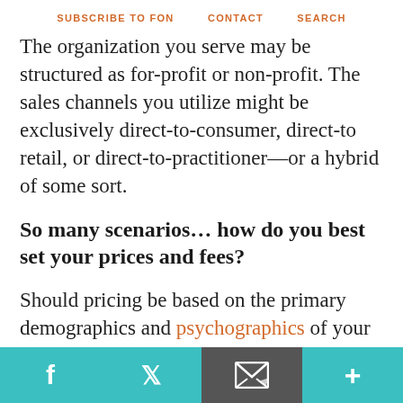SUBSCRIBE TO FON   CONTACT   SEARCH
The organization you serve may be structured as for-profit or non-profit. The sales channels you utilize might be exclusively direct-to-consumer, direct-to retail, or direct-to-practitioner—or a hybrid of some sort.
So many scenarios… how do you best set your prices and fees?
Should pricing be based on the primary demographics and psychographics of your target buyer personas (aka avatars)?